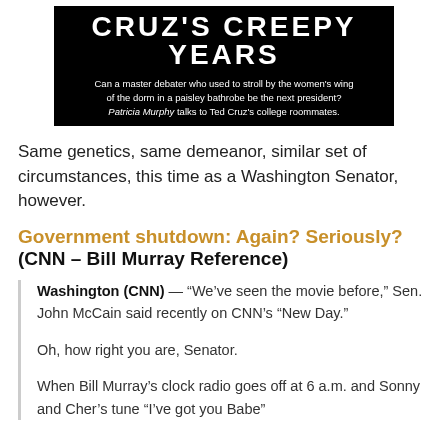[Figure (illustration): Dark/black background image block with large white bold uppercase text reading 'CRUZ'S CREEPY YEARS' and smaller subtitle text: 'Can a master debater who used to stroll by the women's wing of the dorm in a paisley bathrobe be the next president? Patricia Murphy talks to Ted Cruz's college roommates.']
Same genetics, same demeanor, similar set of circumstances, this time as a Washington Senator, however.
Government shutdown: Again? Seriously? (CNN – Bill Murray Reference)
Washington (CNN) — “We’ve seen the movie before,” Sen. John McCain said recently on CNN’s “New Day.”
Oh, how right you are, Senator.
When Bill Murray’s clock radio goes off at 6 a.m. and Sonny and Cher’s tune “I’ve got you Babe”